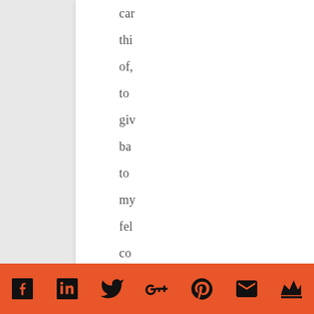can
thi
of,
to
giv
ba
to
my
fel
co
is
by
ini
a
mo
Social share bar with icons: Facebook, LinkedIn, Twitter, Google+, Pinterest, Email, Crown/Feather